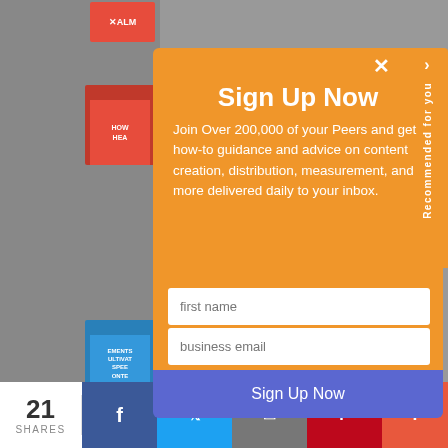[Figure (screenshot): Background website content with gray overlay and small thumbnail images on left side]
Sign Up Now
Join Over 200,000 of your Peers and get how-to guidance and advice on content creation, distribution, measurement, and more delivered daily to your inbox.
first name
business email
Sign Up Now
Recommended for you
21
SHARES